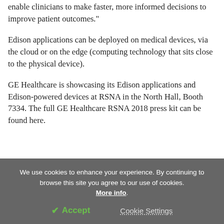enable clinicians to make faster, more informed decisions to improve patient outcomes."
Edison applications can be deployed on medical devices, via the cloud or on the edge (computing technology that sits close to the physical device).
GE Healthcare is showcasing its Edison applications and Edison-powered devices at RSNA in the North Hall, Booth 7334. The full GE Healthcare RSNA 2018 press kit can be found here.
We use cookies to enhance your experience. By continuing to browse this site you agree to our use of cookies. More info.
✔ Accept    Cookie Settings